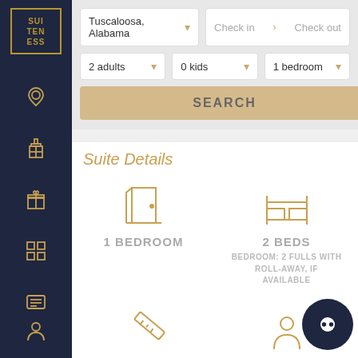[Figure (screenshot): Hotel booking web app interface showing Suiteness brand with dark navy sidebar with gold icons, search filters for Tuscaloosa Alabama, 2 adults, 0 kids, 1 bedroom, and Suite Details section showing 1 Bedroom, 2 Beds, 300 SQ FT, 4 Guests]
SUI TEN ESS
Tuscaloosa, Alabama
Check in  > Check out
2 adults
0 kids
1 bedroom
SEARCH
Suite Details
1 BEDROOM
2 BEDS
BEDROOM: 2 FULLS WITH ROLL-AWAY, IF AVAILABLE
300 SQ FT.
4 GUESTS